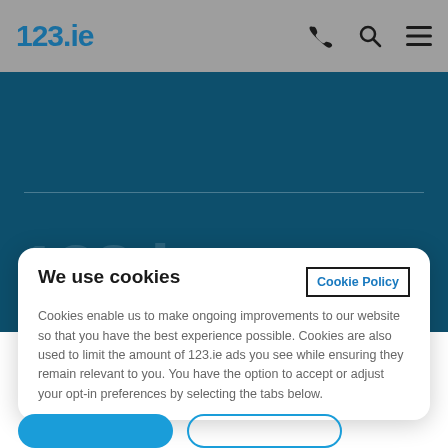123.ie
[Figure (screenshot): 123.ie navigation bar with phone, search, and menu icons on grey background]
[Figure (screenshot): Dark teal hero section with horizontal divider line and large 123.ie watermark text]
We use cookies
Cookie Policy
Cookies enable us to make ongoing improvements to our website so that you have the best experience possible. Cookies are also used to limit the amount of 123.ie ads you see while ensuring they remain relevant to you. You have the option to accept or adjust your opt-in preferences by selecting the tabs below.